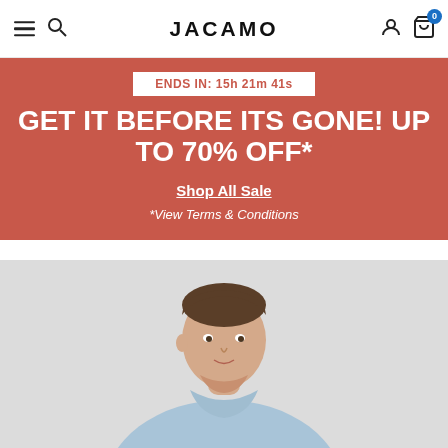JACAMO
ENDS IN: 15h 21m 41s
GET IT BEFORE ITS GONE! UP TO 70% OFF*
Shop All Sale
*View Terms & Conditions
[Figure (photo): Man wearing a light blue polo shirt against a light grey background, cropped to show head and upper torso]